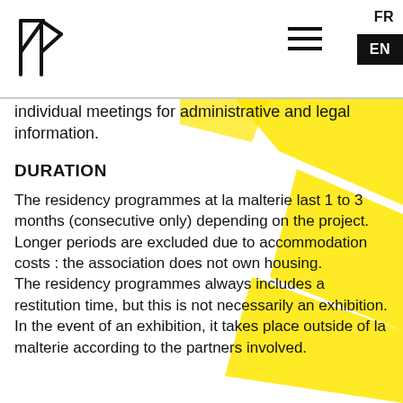FR EN
individual meetings for administrative and legal information.
DURATION
The residency programmes at la malterie last 1 to 3 months (consecutive only) depending on the project. Longer periods are excluded due to accommodation costs : the association does not own housing.
The residency programmes always includes a restitution time, but this is not necessarily an exhibition. In the event of an exhibition, it takes place outside of la malterie according to the partners involved.